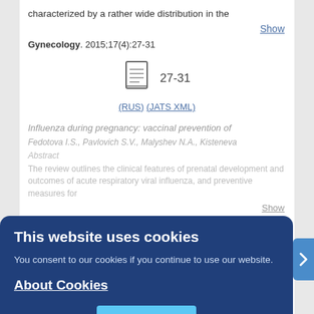characterized by a rather wide distribution in the
Show
Gynecology. 2015;17(4):27-31
[Figure (other): Document icon with page range 27-31]
(RUS) (JATS XML)
Influenza during pregnancy: vaccinal prevention of
Fedotova I.S., Pavlovich S.V., Malyshev N.A., Kisteneva
The review outlines the clinical features of prenatal development and outcomes of acute respiratory viral influenza, and preventive measures for
Show
Gynecology. 2015;17(4):...
[Figure (other): Document icon with page range 32-37]
(RUS) (JATS XML)
Season fluctuations of level of 25-hydroxycholecalciferol
This website uses cookies
You consent to our cookies if you continue to use our website.
About Cookies
OK